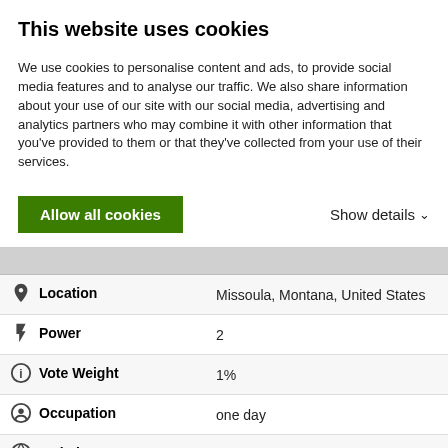This website uses cookies
We use cookies to personalise content and ads, to provide social media features and to analyse our traffic. We also share information about your use of our site with our social media, advertising and analytics partners who may combine it with other information that you've provided to them or that they've collected from your use of their services.
Allow all cookies
Show details
| Field | Value |
| --- | --- |
| Location | Missoula, Montana, United States |
| Power | 2 |
| Vote Weight | 1% |
| Occupation | one day |
| Website | http://urnotreal |
9,976 Hits   Member Since: Aug 18, 2008
Last Active: Jun 21, 2016
Send urnotreal a Private Message (PM)
Suggested mountains/ routes for urnotreal